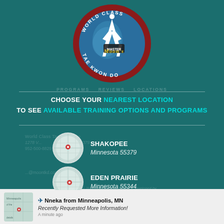[Figure (logo): World Class Tae Kwon Do - Master Moon's circular logo with martial artist silhouette on globe background, dark red border with white text]
PROGRAMS  REVIEWS  LOCATIONS
CHOOSE YOUR NEAREST LOCATION TO SEE AVAILABLE TRAINING OPTIONS AND PROGRAMS
SHAKOPEE Minnesota 55379
EDEN PRAIRIE Minnesota 55344
Nneka from Minneapolis, MN - Recently Requested More Information!